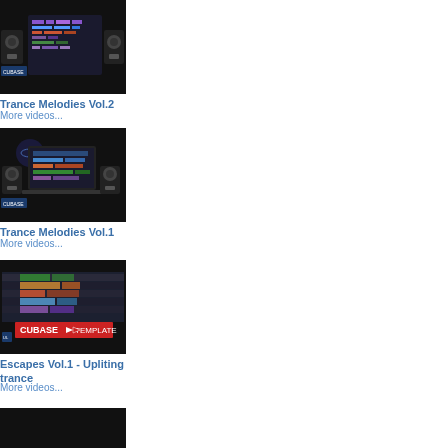[Figure (screenshot): Thumbnail of Trance Melodies Vol.2 video with music software interface and speakers]
Trance Melodies Vol.2
More videos...
[Figure (screenshot): Thumbnail of Trance Melodies Vol.1 video with music software interface and speakers]
Trance Melodies Vol.1
More videos...
[Figure (screenshot): Thumbnail of Escapes Vol.1 Upliting trance video showing Cubase Template]
Escapes Vol.1 - Upliting trance
More videos...